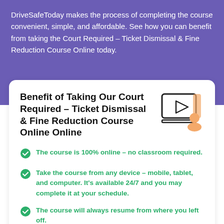DriveSafeToday makes the process of completing the course convenient, simple, and affordable. See how you can benefit from taking the Court Required – Ticket Dismissal & Fine Reduction Course Online today.
Benefit of Taking Our Court Required – Ticket Dismissal & Fine Reduction Course Online Online
[Figure (illustration): Orange illustration of a video player/monitor with a play button and a person icon below it]
The course is 100% online – no classroom required.
Take the course from any device – mobile, tablet, and computer. It's available 24/7 and you may complete it at your schedule.
The course will always resume from where you left off.